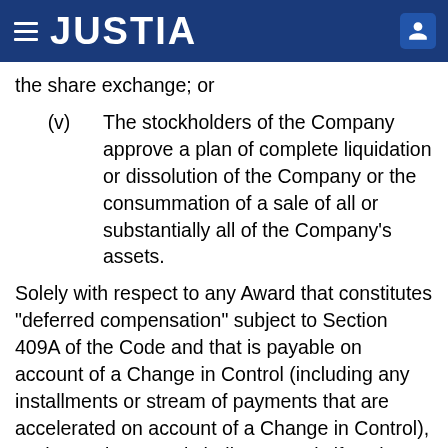JUSTIA
the share exchange; or
(v) The stockholders of the Company approve a plan of complete liquidation or dissolution of the Company or the consummation of a sale of all or substantially all of the Company's assets.
Solely with respect to any Award that constitutes "deferred compensation" subject to Section 409A of the Code and that is payable on account of a Change in Control (including any installments or stream of payments that are accelerated on account of a Change in Control), a Change in Control shall occur only if such event also constitutes a "change in the ownership", "change in effective control", and/or a "change in the ownership of a substantial portion of assets" of the Company as those terms are defined under Treasury Regulation §1.409A-3(i)(5), but only to the extent